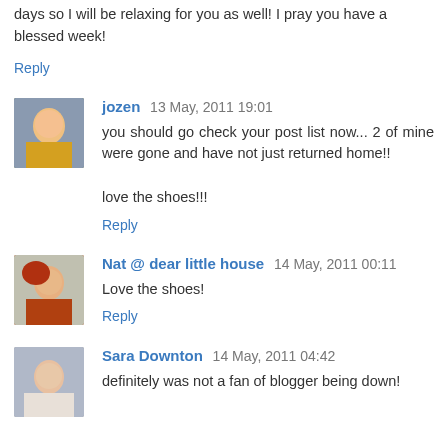days so I will be relaxing for you as well! I pray you have a blessed week!
Reply
jozen 13 May, 2011 19:01
you should go check your post list now... 2 of mine were gone and have not just returned home!!

love the shoes!!!
Reply
Nat @ dear little house 14 May, 2011 00:11
Love the shoes!
Reply
Sara Downton 14 May, 2011 04:42
definitely was not a fan of blogger being down!